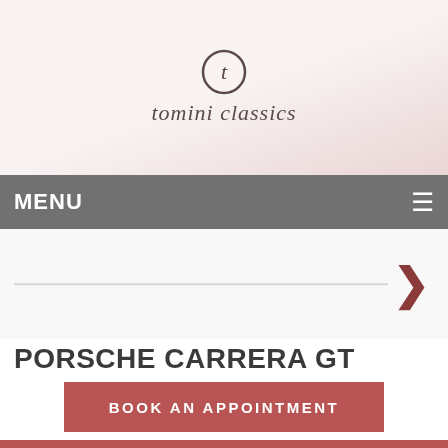[Figure (logo): Tomini Classics logo with circular 't' icon and italic brand name]
MENU
[Figure (photo): Car image slider area with right arrow navigation]
PORSCHE CARRERA GT
BOOK AN APPOINTMENT
DETAILS
| STOCK NO | POR-039 |
| --- | --- |